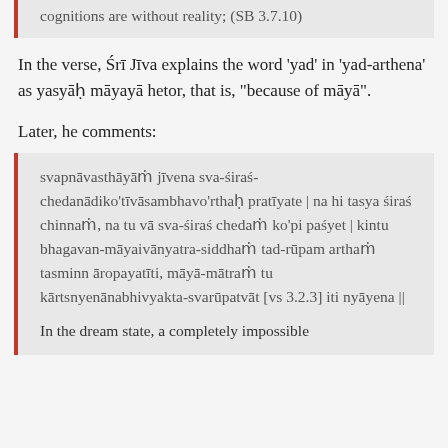cognitions are without reality; (SB 3.7.10)
In the verse, Śrī Jīva explains the word 'yad' in 'yad-arthena' as yasyāḥ māyayā hetor, that is, "because of māyā".
Later, he comments:
svapnāvasthāyāṁ jīvena sva-śiraś-chedanādiko'tīvāsambhavo'rthaḥ pratīyate | na hi tasya śiraś chinnaṁ, na tu vā sva-śiraś chedaṁ ko'pi paśyet | kintu bhagavan-māyaivānyatra-siddhaṁ tad-rūpam arthaṁ tasminn āropayatīti, māyā-mātraṁ tu kārtsnyenānabhivyakta-svarūpatvāt [vs 3.2.3] iti nyāyena ||
In the dream state, a completely impossible